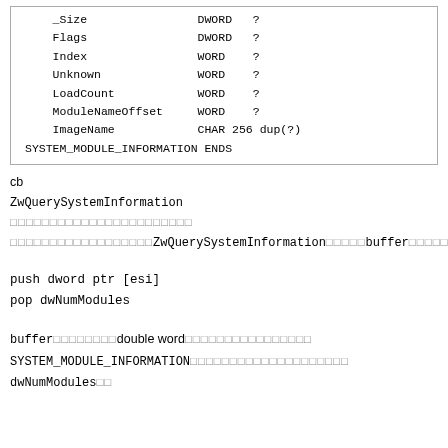| _Size | DWORD | ? |
| Flags | DWORD | ? |
| Index | WORD | ? |
| Unknown | WORD | ? |
| LoadCount | WORD | ? |
| ModuleNameOffset | WORD | ? |
| ImageName | CHAR 256 dup(?) |
| SYSTEM_MODULE_INFORMATION ENDS |  |  |
cb
ZwQuerySystemInformation
ZwQuerySystemInformation     buffer
push dword ptr [esi]
pop dwNumModules
buffer       double word             
SYSTEM_MODULE_INFORMATION               
dwNumModules